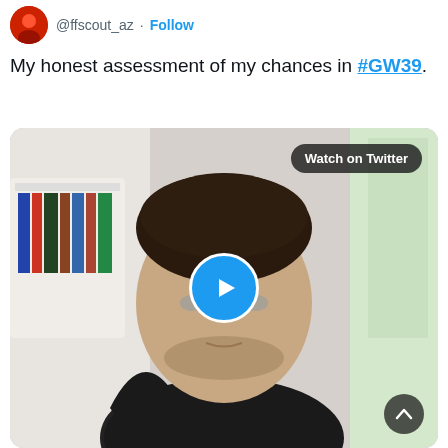@ffscout_az · Follow
My honest assessment of my chances in #GW39.
[Figure (screenshot): A Twitter/X video thumbnail showing a young man with dark hair and stubble sitting in an office chair. A bookshelf is visible behind him on the left and a large window on the right. A blue play button circle is overlaid in the center. A 'Watch on Twitter' badge appears in the top-right corner. A dark scroll-up button appears at the bottom-right.]